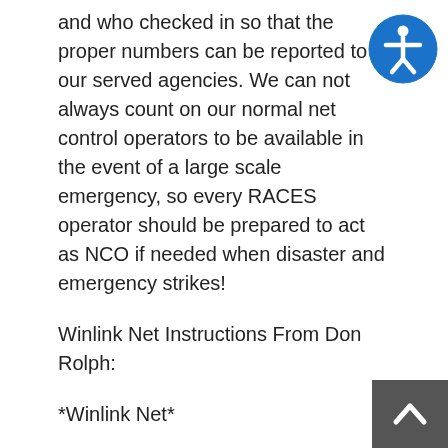and who checked in so that the proper numbers can be reported to our served agencies. We can not always count on our normal net control operators to be available in the event of a large scale emergency, so every RACES operator should be prepared to act as NCO if needed when disaster and emergency strikes!
Winlink Net Instructions From Don Rolph:
*Winlink Net*
To participate:
– create a checkin form using the Winlink standard checkin form
– send via winlink after 6 AM EST Mon. June 6  and before midnight EST June 7 (any mode, but include  mode in check-in form) to AB1PH